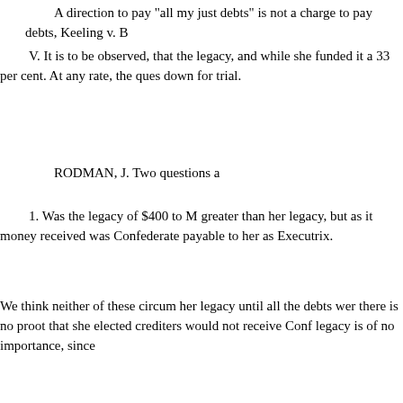A direction to pay "all my just debts" is not a charge to pay debts, Keeling v. B
V. It is to be observed, that the legacy, and while she funded it a 33 per cent. At any rate, the ques down for trial.
RODMAN, J. Two questions a
1. Was the legacy of $400 to M greater than her legacy, but as it money received was Confederate payable to her as Executrix.
We think neither of these circum her legacy until all the debts wer there is no proot that she elected crediters would not receive Conf legacy is of no importance, since
LITTLE, EXECUTRIX v. HA
bonds were expressly taken in he
2. Is the legacy a charge on th